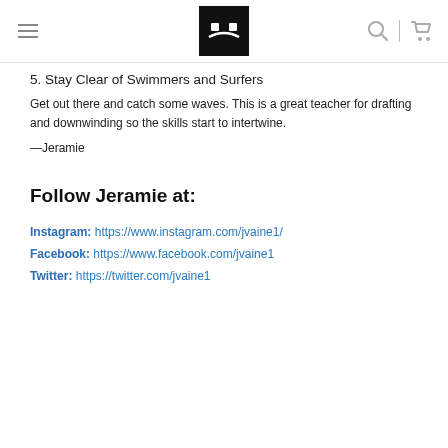[Navigation header with logo, hamburger menu, search and cart icons]
5. Stay Clear of Swimmers and Surfers
Get out there and catch some waves. This is a great teacher for drafting and downwinding so the skills start to intertwine.
—Jeramie
Follow Jeramie at:
Instagram: https://www.instagram.com/jvaine1/
Facebook: https://www.facebook.com/jvaine1
Twitter: https://twitter.com/jvaine1